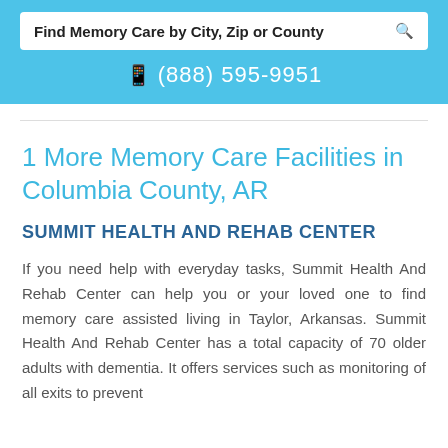Find Memory Care by City, Zip or County
(888) 595-9951
1 More Memory Care Facilities in Columbia County, AR
SUMMIT HEALTH AND REHAB CENTER
If you need help with everyday tasks, Summit Health And Rehab Center can help you or your loved one to find memory care assisted living in Taylor, Arkansas. Summit Health And Rehab Center has a total capacity of 70 older adults with dementia. It offers services such as monitoring of all exits to prevent